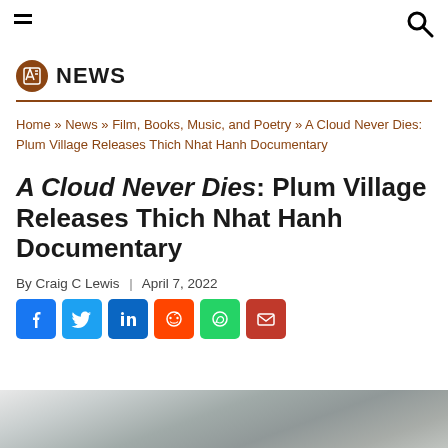[menu icon] [search icon]
NEWS
Home » News » Film, Books, Music, and Poetry » A Cloud Never Dies: Plum Village Releases Thich Nhat Hanh Documentary
A Cloud Never Dies: Plum Village Releases Thich Nhat Hanh Documentary
By Craig C Lewis | April 7, 2022
[Figure (other): Social share buttons: Facebook, Twitter, LinkedIn, Reddit, WhatsApp, Email]
[Figure (photo): Partial image at bottom of page, appears to be a landscape or nature photo in grayscale]